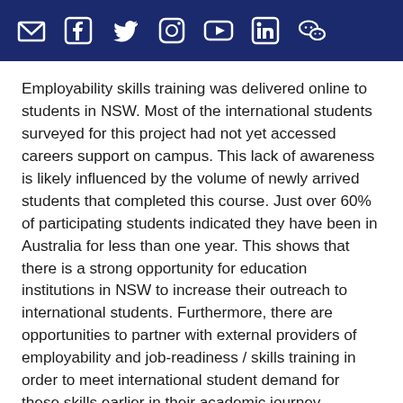[Figure (illustration): Dark navy blue header bar with social media icons: email/envelope, Facebook, Twitter, Instagram, YouTube, LinkedIn, WeChat]
Employability skills training was delivered online to students in NSW. Most of the international students surveyed for this project had not yet accessed careers support on campus. This lack of awareness is likely influenced by the volume of newly arrived students that completed this course. Just over 60% of participating students indicated they have been in Australia for less than one year. This shows that there is a strong opportunity for education institutions in NSW to increase their outreach to international students. Furthermore, there are opportunities to partner with external providers of employability and job-readiness / skills training in order to meet international student demand for these skills earlier in their academic journey.
The Employability Training Course prepared for this project by Successful Graduate, including the micro-course about problem solving and critical thinking skills are available for